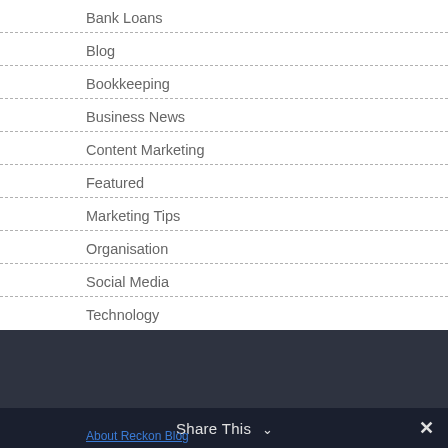Bank Loans
Blog
Bookkeeping
Business News
Content Marketing
Featured
Marketing Tips
Organisation
Social Media
Technology
Share This ∨  ✕
About Reckon Blog